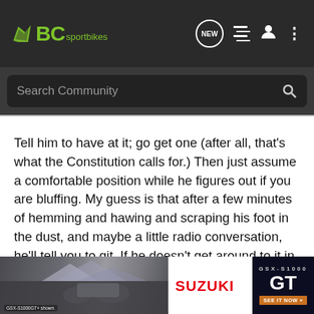BC sportbikes — navigation header with search bar
Tell him to have at it; go get one (after all, that's what the Constitution calls for.) Then just assume a comfortable position while he figures out if you are bluffing. My guess is that after a few minutes of hemming and hawing and scraping his foot in the dust, and maybe a little radio conversation, he'll tell you to git. If he doesn't get around to it in just a few minutes, and if the ticket has been dealt with, ask him if you can go.
If he tells you "No," ask him why not.
If he tell ... then he is entitled ... lence he susp... gets it
[Figure (advertisement): Suzuki GSX-S1000 GT advertisement banner overlaying text]